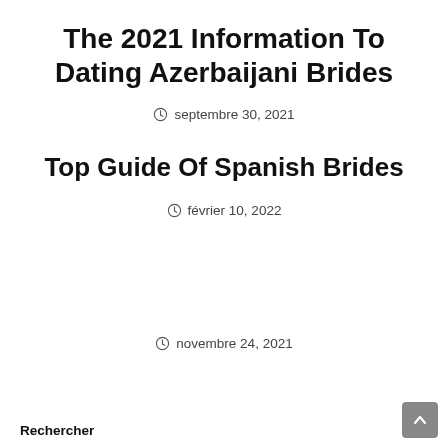The 2021 Information To Dating Azerbaijani Brides
septembre 30, 2021
Top Guide Of Spanish Brides
février 10, 2022
novembre 24, 2021
Rechercher